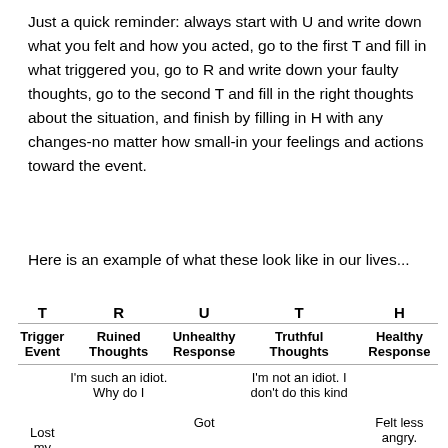Just a quick reminder: always start with U and write down what you felt and how you acted, go to the first T and fill in what triggered you, go to R and write down your faulty thoughts, go to the second T and fill in the right thoughts about the situation, and finish by filling in H with any changes-no matter how small-in your feelings and actions toward the event.
Here is an example of what these look like in our lives...
| T | R | U | T | H |
| --- | --- | --- | --- | --- |
| Trigger Event | Ruined Thoughts | Unhealthy Response | Truthful Thoughts | Healthy Response |
| Lost my | I'm such an idiot. Why do I | Got | I'm not an idiot. I don't do this kind | Felt less angry. |